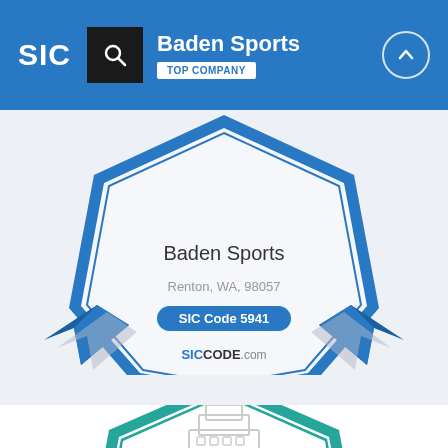SIC | Baden Sports | TOP COMPANY
[Figure (infographic): Blue award badge/shield with ribbon for Baden Sports, Renton WA 98057, SIC Code 5941, siccode.com]
Baden Sports
Renton, WA, 98057
SIC Code 5941
SICCODE.com
[Figure (infographic): Teal/turquoise award badge (partial, bottom of page) with building icon for Baden Sports]